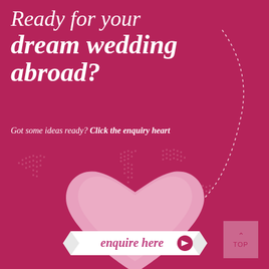Ready for your dream wedding abroad?
Got some ideas ready? Click the enquiry heart
[Figure (illustration): Pink heart shape with a white banner ribbon reading 'enquire here' with a play button icon, overlaid on a dotted world map silhouette, with a white airplane icon and dotted flight path curve on dark pink/magenta background]
TOP